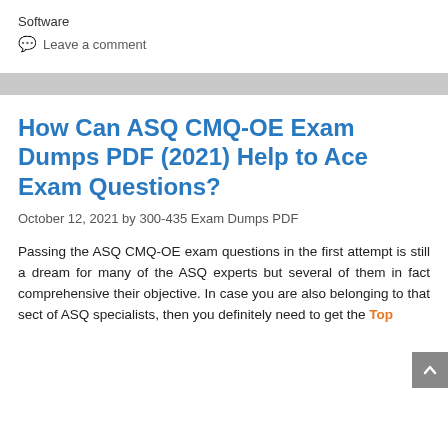Software
💬 Leave a comment
How Can ASQ CMQ-OE Exam Dumps PDF (2021) Help to Ace Exam Questions?
October 12, 2021 by 300-435 Exam Dumps PDF
Passing the ASQ CMQ-OE exam questions in the first attempt is still a dream for many of the ASQ experts but several of them in fact comprehensive their objective. In case you are also belonging to that sect of ASQ specialists, then you definitely need to get the Top